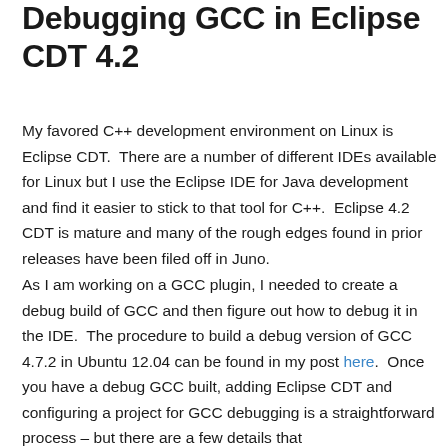Debugging GCC in Eclipse CDT 4.2
My favored C++ development environment on Linux is Eclipse CDT.  There are a number of different IDEs available for Linux but I use the Eclipse IDE for Java development and find it easier to stick to that tool for C++.  Eclipse 4.2 CDT is mature and many of the rough edges found in prior releases have been filed off in Juno.
As I am working on a GCC plugin, I needed to create a debug build of GCC and then figure out how to debug it in the IDE.  The procedure to build a debug version of GCC 4.7.2 in Ubuntu 12.04 can be found in my post here.  Once you have a debug GCC built, adding Eclipse CDT and configuring a project for GCC debugging is a straightforward process – but there are a few details that